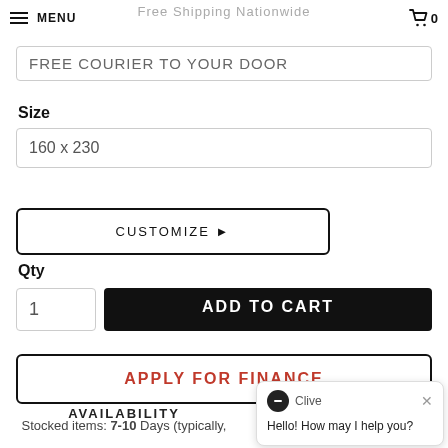Free Shipping Nationwide
FREE COURIER TO YOUR DOOR
Size
160 x 230
CUSTOMIZE ▶
Qty
1
ADD TO CART
APPLY FOR FINANCE
AVAILABILITY
Stocked items: 7-10 Days (typically,